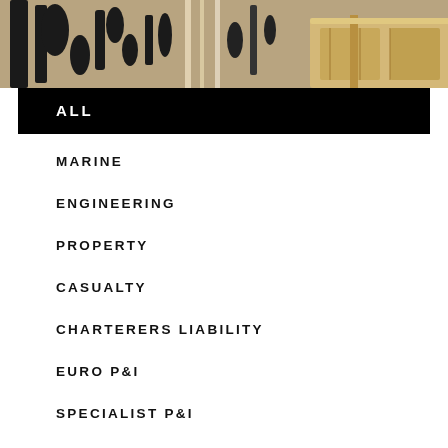[Figure (photo): A photograph of a modern interior space with abstract black and white artwork/panels on the wall and wooden furniture visible on the right side.]
ALL
MARINE
ENGINEERING
PROPERTY
CASUALTY
CHARTERERS LIABILITY
EURO P&I
SPECIALIST P&I
CLAIMS